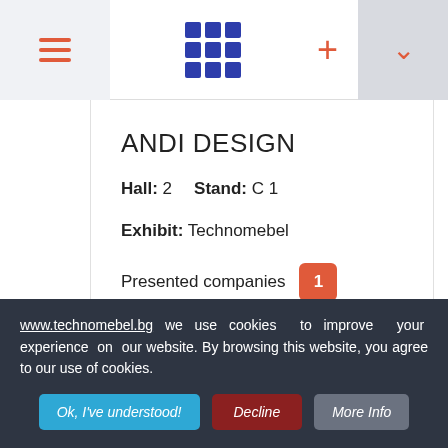[Figure (screenshot): Top navigation bar with hamburger menu icon (three red lines) on left gray panel, blue 3x3 grid icon in center, red plus sign, and gray dropdown panel with red chevron on right.]
ANDI DESIGN
Hall: 2    Stand: C 1    Exhibit: Technomebel
Presented companies  1
Bulgaria Plovdiv, 23-29, Makedonia Blvd.; Pazardjik, 97, Al.Stamboliyski Blvd.
www.technomebel.bg we use cookies to improve your experience on our website. By browsing this website, you agree to our use of cookies.
Ok, I've understood!  Decline  More Info